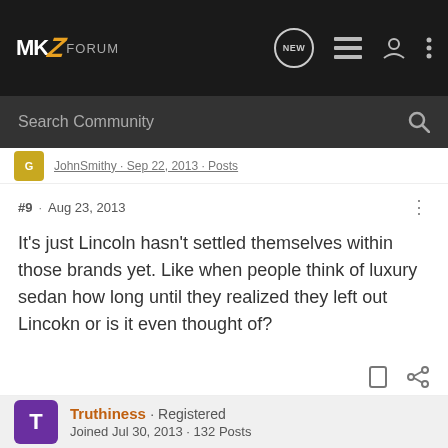MKZ FORUM
Search Community
#9 · Aug 23, 2013
It's just Lincoln hasn't settled themselves within those brands yet. Like when people think of luxury sedan how long until they realized they left out Lincolkn or is it even thought of?
Truthiness · Registered
Joined Jul 30, 2013 · 132 Posts